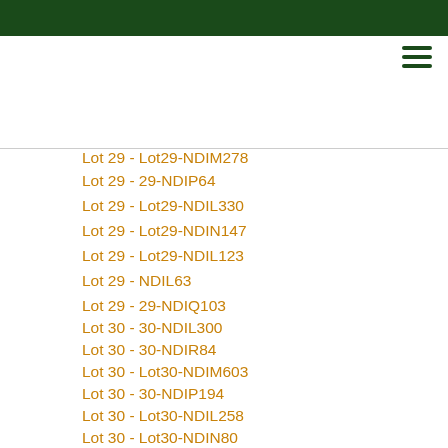Lot 29 - Lot29-NDIM278
Lot 29 - 29-NDIP64
Lot 29 - Lot29-NDIL330
Lot 29 - Lot29-NDIN147
Lot 29 - Lot29-NDIL123
Lot 29 - NDIL63
Lot 29 - 29-NDIQ103
Lot 30 - 30-NDIL300
Lot 30 - 30-NDIR84
Lot 30 - Lot30-NDIM603
Lot 30 - 30-NDIP194
Lot 30 - Lot30-NDIL258
Lot 30 - Lot30-NDIN80
Lot 30 - Lot30-NDIL105
Lot 30 - NDIL5
Lot 30 - 30-NDIQ66
Lot 31 - 31-NDIL131
Lot 31 - 31-NDIR30
Lot 31 - Lot31-NDIM193